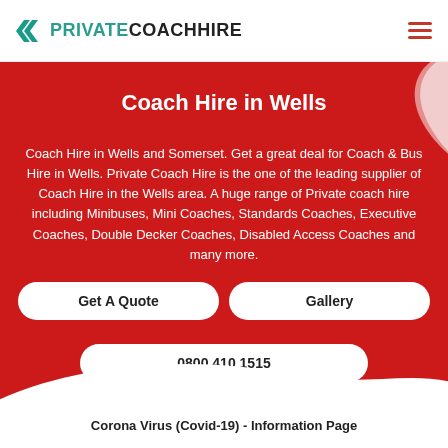PRIVATECOACHIRE
Coach Hire in Wells
Coach Hire in Wells and Somerset. Get a great deal for Coach & Bus Hire in Wells. Private Coach Hire is the one of the leading supplier of Coach Hire in the Wells area. A huge range of Private coach hire including Minibuses, Mini Coaches, Standards Coaches, Executive Coaches, Double Decker Coaches, Disabled Access Coaches and many more.
Get A Quote
Gallery
0800 410 1515
Corona Virus (Covid-19) - Information Page